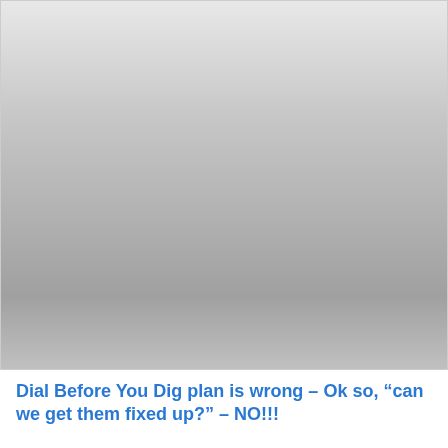[Figure (photo): A large mostly blank/grey image area, faded gradient from light grey at top to medium grey in the middle and lighter at the bottom, appearing to be a washed-out or faded photograph.]
Dial Before You Dig plan is wrong – Ok so, “can we get them fixed up?” – NO!!!